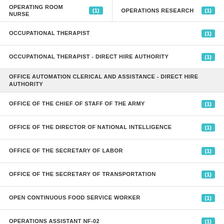OPERATING ROOM NURSE (1)
OPERATIONS RESEARCH (1)
OCCUPATIONAL THERAPIST (1)
OCCUPATIONAL THERAPIST - DIRECT HIRE AUTHORITY (1)
OFFICE AUTOMATION CLERICAL AND ASSISTANCE - DIRECT HIRE AUTHORITY
OFFICE OF THE CHIEF OF STAFF OF THE ARMY (1)
OFFICE OF THE DIRECTOR OF NATIONAL INTELLIGENCE (1)
OFFICE OF THE SECRETARY OF LABOR (1)
OFFICE OF THE SECRETARY OF TRANSPORTATION (1)
OPEN CONTINUOUS FOOD SERVICE WORKER (1)
OPERATIONS ASSISTANT NF-02 (1)
OPERATIONS GENERALIST (1)
OPERATIONS GENERALIST - RE-POST (1)
OPERATIONS RESEARCH - DIRECT HIRE AUTHORITY (1)